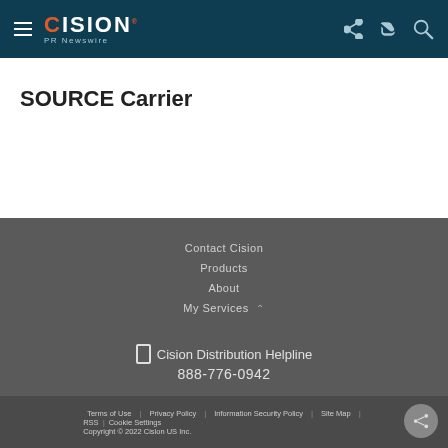Cision PR Newswire
SOURCE Carrier
Contact Cision
Products
About
My Services
Cision Distribution Helpline 888-776-0942
Terms of Use | Privacy Policy | Information Security Policy | Site Map | RSS | Cookie Settings
Copyright © 2022 Cision US Inc.